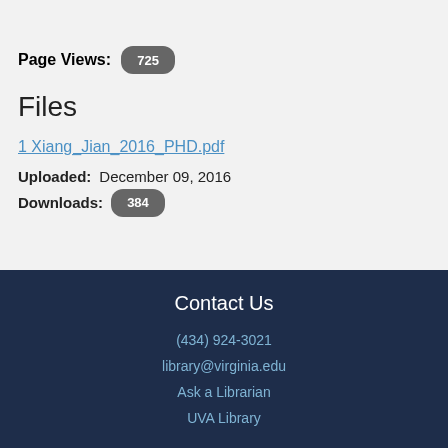Page Views: 725
Files
1 Xiang_Jian_2016_PHD.pdf
Uploaded: December 09, 2016
Downloads: 384
Contact Us
(434) 924-3021
library@virginia.edu
Ask a Librarian
UVA Library